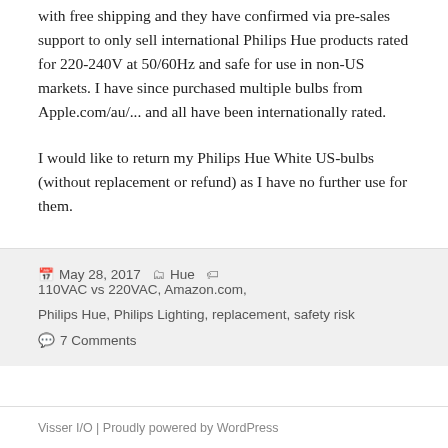with free shipping and they have confirmed via pre-sales support to only sell international Philips Hue products rated for 220-240V at 50/60Hz and safe for use in non-US markets. I have since purchased multiple bulbs from Apple.com/au/... and all have been internationally rated.
I would like to return my Philips Hue White US-bulbs (without replacement or refund) as I have no further use for them.
May 28, 2017   Hue   110VAC vs 220VAC, Amazon.com, Philips Hue, Philips Lighting, replacement, safety risk   7 Comments
Visser I/O | Proudly powered by WordPress